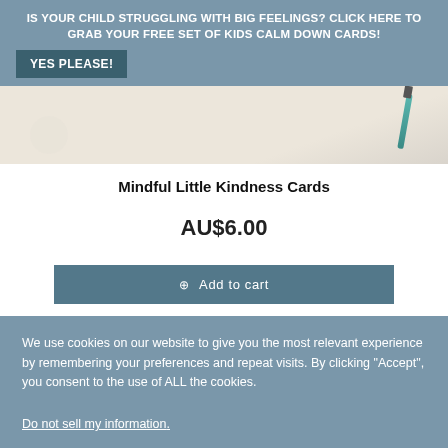IS YOUR CHILD STRUGGLING WITH BIG FEELINGS? CLICK HERE TO GRAB YOUR FREE SET OF KIDS CALM DOWN CARDS!
YES PLEASE!
[Figure (photo): Partial product photo showing cards on a light cream background with a pencil visible]
Mindful Little Kindness Cards
AU$6.00
Add to cart
We use cookies on our website to give you the most relevant experience by remembering your preferences and repeat visits. By clicking "Accept", you consent to the use of ALL the cookies.
Do not sell my information.
Cookie Settings
Accept